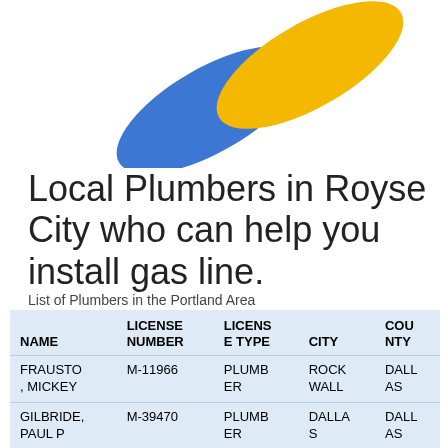[Figure (logo): Google-style logo with blue and yellow pill/capsule shapes crossing each other]
Local Plumbers in Royse City who can help you install gas line.
List of Plumbers in the Portland Area
| NAME | LICENSE NUMBER | LICENSE TYPE | CITY | COUNTY |
| --- | --- | --- | --- | --- |
| FRAUSTO, MICKEY | M-11966 | PLUMBER | ROCK WALL | DALLAS |
| GILBRIDE, PAUL P | M-39470 | PLUMBER | DALLAS | DALLAS |
| LINES, ALBERT | J-33545 | PLUMBER | DALLAS | DALLAS |